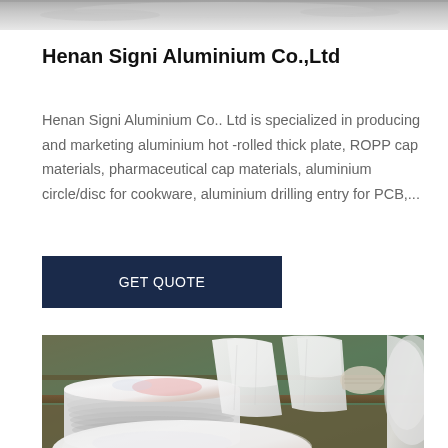[Figure (photo): Top partial photo strip of aluminium product or industrial background, cropped]
Henan Signi Aluminium Co.,Ltd
Henan Signi Aluminium Co.. Ltd is specialized in producing and marketing aluminium hot -rolled thick plate, ROPP cap materials, pharmaceutical cap materials, aluminium circle/disc for cookware, aluminium drilling entry for PCB,...
GET QUOTE
[Figure (photo): Photo of stacked aluminium circles/discs for cookware, with white packaging bags and industrial shelving in background]